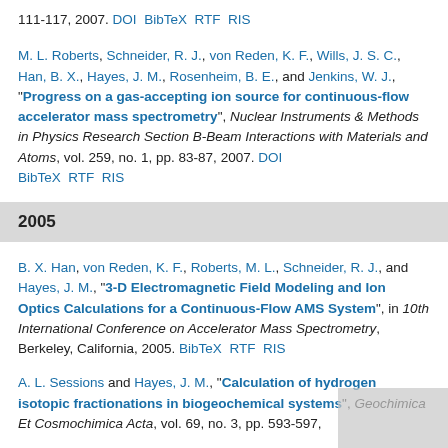111-117, 2007. DOI BibTeX RTF RIS
M. L. Roberts, Schneider, R. J., von Reden, K. F., Wills, J. S. C., Han, B. X., Hayes, J. M., Rosenheim, B. E., and Jenkins, W. J., "Progress on a gas-accepting ion source for continuous-flow accelerator mass spectrometry", Nuclear Instruments & Methods in Physics Research Section B-Beam Interactions with Materials and Atoms, vol. 259, no. 1, pp. 83-87, 2007. DOI BibTeX RTF RIS
2005
B. X. Han, von Reden, K. F., Roberts, M. L., Schneider, R. J., and Hayes, J. M., "3-D Electromagnetic Field Modeling and Ion Optics Calculations for a Continuous-Flow AMS System", in 10th International Conference on Accelerator Mass Spectrometry, Berkeley, California, 2005. BibTeX RTF RIS
A. L. Sessions and Hayes, J. M., "Calculation of hydrogen isotopic fractionations in biogeochemical systems", Geochimica Et Cosmochimica Acta, vol. 69, no. 3, pp. 593-597,